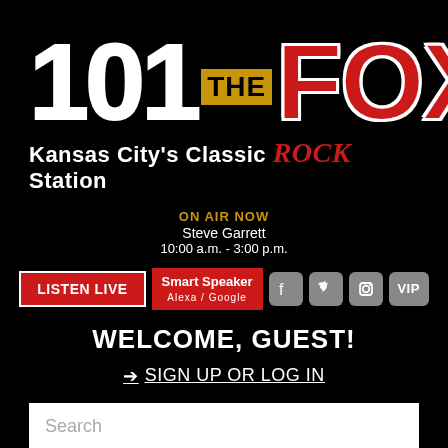[Figure (logo): 101 THE FOX logo - Kansas City's Classic ROCK Station]
ON AIR NOW
Steve Garrett
10:00 a.m. - 3:00 p.m.
LISTEN LIVE   Smart Speaker Alexa / Google
WELCOME, GUEST!
➔ SIGN UP OR LOG IN
Search